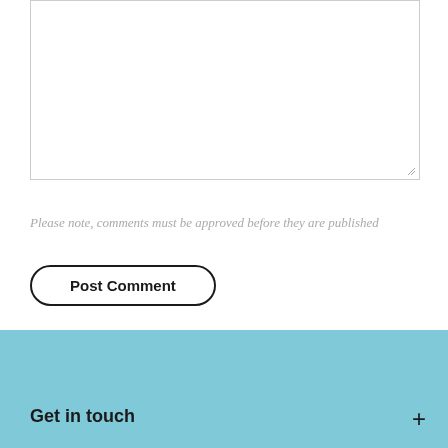[Figure (screenshot): Text area input box with resize handle at bottom right, empty white background with light gray border]
Please note, comments must be approved before they are published
Post Comment
[Figure (other): Light blue/teal footer section with a white back-to-top button containing an upward chevron arrow]
Get in touch